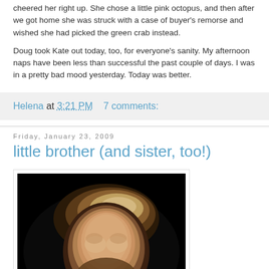cheered her right up. She chose a little pink octopus, and then after we got home she was struck with a case of buyer's remorse and wished she had picked the green crab instead.
Doug took Kate out today, too, for everyone's sanity. My afternoon naps have been less than successful the past couple of days. I was in a pretty bad mood yesterday. Today was better.
Helena at 3:21 PM   7 comments:
Friday, January 23, 2009
little brother (and sister, too!)
[Figure (photo): Close-up portrait photo of a baby or young child with light hair against a dark/black background]